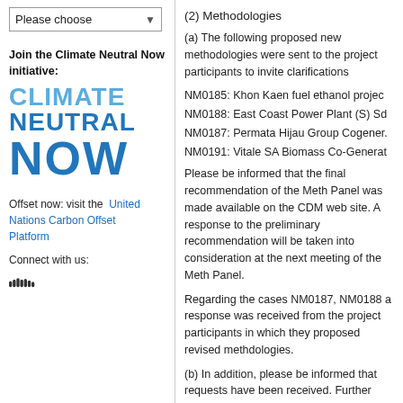Please choose (dropdown)
Join the Climate Neutral Now initiative:
[Figure (logo): Climate Neutral Now logo in blue text, large stylized typography reading CLIMATE NEUTRAL NOW]
Offset now: visit the United Nations Carbon Offset Platform
Connect with us:
[Figure (logo): SoundCloud icon]
(2) Methodologies
(a) The following proposed new methodologies were sent to the project participants to invite clarifications
NM0185: Khon Kaen fuel ethanol projec
NM0188: East Coast Power Plant (S) Sd
NM0187: Permata Hijau Group Cogener.
NM0191: Vitale SA Biomass Co-Generat
Please be informed that the final recommendation of the Meth Panel was made available on the CDM web site. A response to the preliminary recommendation will be taken into consideration at the next meeting of the Meth Panel.
Regarding the cases NM0187, NM0188 a response was received from the project participants in which they proposed revised methdologies.
(b) In addition, please be informed that requests have been received. Further information on these submissions is at: http://cdm.unfccc.int/methodologies/PAm
**************************************************
(2) Afforestation and Reforestation methodologies
The following proposed new baseline and monitoring methodologies for consideration by the Working Group on AR are now available in the UNFCCC CDM web site:
ARNM008: Proposed Afforestation and Reforestation...